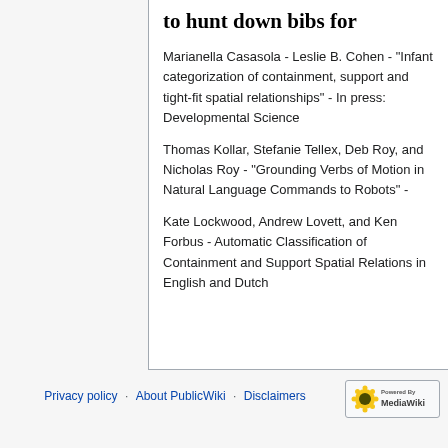to hunt down bibs for
Marianella Casasola - Leslie B. Cohen - "Infant categorization of containment, support and tight-fit spatial relationships" - In press: Developmental Science
Thomas Kollar, Stefanie Tellex, Deb Roy, and Nicholas Roy - "Grounding Verbs of Motion in Natural Language Commands to Robots" -
Kate Lockwood, Andrew Lovett, and Ken Forbus - Automatic Classification of Containment and Support Spatial Relations in English and Dutch
Privacy policy · About PublicWiki · Disclaimers